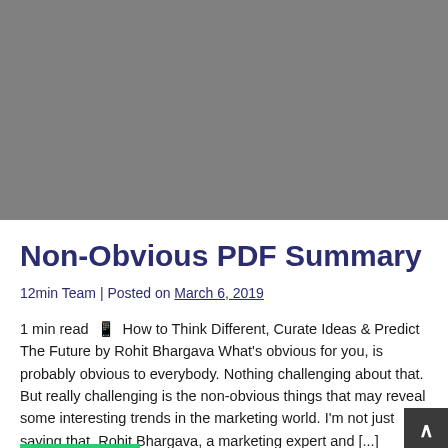Non-Obvious PDF Summary
12min Team | Posted on March 6, 2019
1 min read 🕐 How to Think Different, Curate Ideas & Predict The Future by Rohit Bhargava What's obvious for you, is probably obvious to everybody. Nothing challenging about that. But really challenging is the non-obvious things that may reveal some interesting trends in the marketing world. I'm not just saying that. Rohit Bhargava, a marketing expert and […]